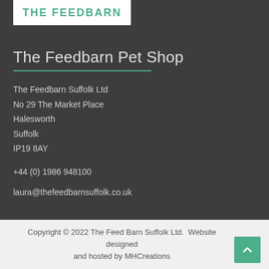[Figure (logo): The Feedbarn logo — white rectangle with green uppercase bold text 'THE FEEDBARN']
The Feedbarn Pet Shop
The Feedbarn Suffolk Ltd
No 29 The Market Place
Halesworth
Suffolk
IP19 8AY
+44 (0) 1986 948100
laura@thefeedbarnsuffolk.co.uk
Copyright © 2022 The Feed Barn Suffolk Ltd.  Website designed and hosted by MHCreations